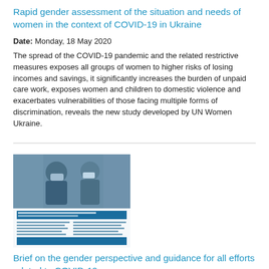Rapid gender assessment of the situation and needs of women in the context of COVID-19 in Ukraine
Date: Monday, 18 May 2020
The spread of the COVID-19 pandemic and the related restrictive measures exposes all groups of women to higher risks of losing incomes and savings, it significantly increases the burden of unpaid care work, exposes women and children to domestic violence and exacerbates vulnerabilities of those facing multiple forms of discrimination, reveals the new study developed by UN Women Ukraine.
[Figure (photo): Cover image of a brief document showing two healthcare workers in blue protective gear, with document pages visible below the photo portion.]
Brief on the gender perspective and guidance for all efforts related to COVID-19
Date: Monday, 18 May 2020